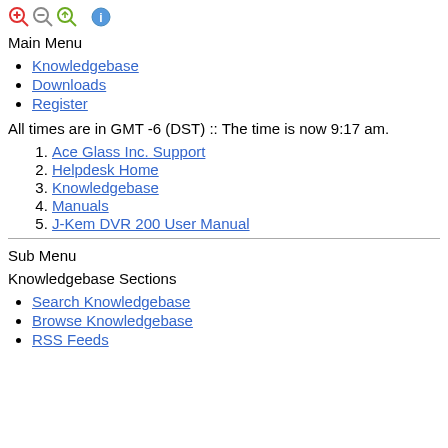[Figure (screenshot): Toolbar icons: zoom in, zoom out, zoom reset, and an info/help circle icon]
Main Menu
Knowledgebase
Downloads
Register
All times are in GMT -6 (DST) :: The time is now 9:17 am.
1. Ace Glass Inc. Support
2. Helpdesk Home
3. Knowledgebase
4. Manuals
5. J-Kem DVR 200 User Manual
Sub Menu
Knowledgebase Sections
Search Knowledgebase
Browse Knowledgebase
RSS Feeds